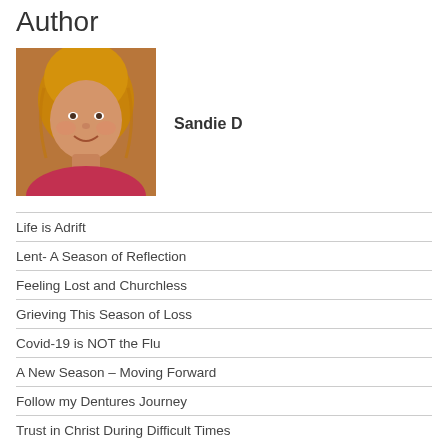Author
[Figure (photo): Headshot photo of Sandie D, a woman with blonde hair wearing a red/pink top]
Sandie D
Life is Adrift
Lent- A Season of Reflection
Feeling Lost and Churchless
Grieving This Season of Loss
Covid-19 is NOT the Flu
A New Season – Moving Forward
Follow my Dentures Journey
Trust in Christ During Difficult Times